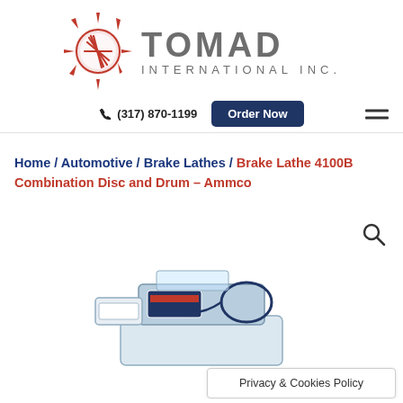[Figure (logo): Tomad International Inc. logo with red spiky globe/compass design and gray text]
(317) 870-1199
Order Now
Home / Automotive / Brake Lathes / Brake Lathe 4100B Combination Disc and Drum – Ammco
[Figure (photo): Partial view of an Ammco Brake Lathe 4100B Combination Disc and Drum machine, shown from above and side]
Privacy & Cookies Policy